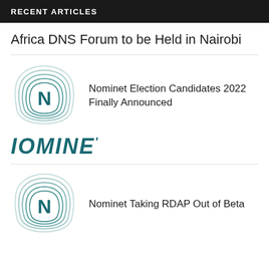RECENT ARTICLES
Africa DNS Forum to be Held in Nairobi
[Figure (logo): Nominet logo — rounded square with N letter in teal, with concentric line decoration]
Nominet Election Candidates 2022 Finally Announced
[Figure (logo): IOMINE' text logo in bold teal italic font]
[Figure (logo): Nominet logo — rounded square with N letter in teal, with concentric line decoration]
Nominet Taking RDAP Out of Beta